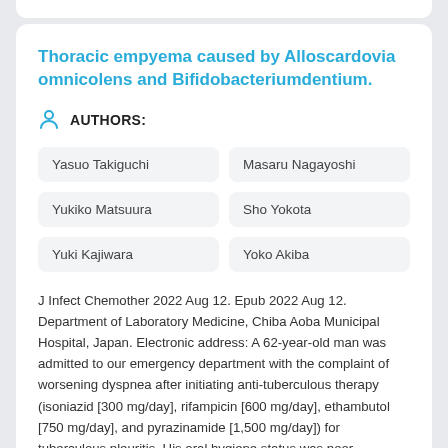Thoracic empyema caused by Alloscardovia omnicolens and Bifidobacteriumdentium.
AUTHORS:
Yasuo Takiguchi
Masaru Nagayoshi
Yukiko Matsuura
Sho Yokota
Yuki Kajiwara
Yoko Akiba
J Infect Chemother 2022 Aug 12. Epub 2022 Aug 12. Department of Laboratory Medicine, Chiba Aoba Municipal Hospital, Japan. Electronic address: A 62-year-old man was admitted to our emergency department with the complaint of worsening dyspnea after initiating anti-tuberculous therapy (isoniazid [300 mg/day], rifampicin [600 mg/day], ethambutol [750 mg/day], and pyrazinamide [1,500 mg/day]) for tuberculous pleuritis. His oral hygiene status was poor.